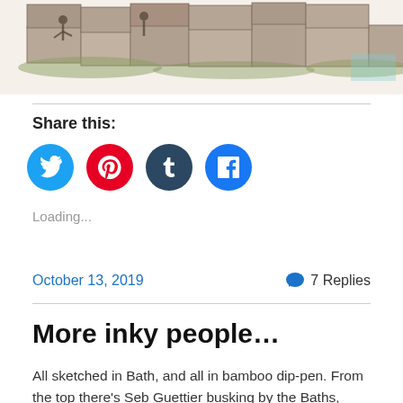[Figure (illustration): Watercolor/ink sketch of people by ancient stone baths or ruins, with green vegetation visible]
Share this:
[Figure (infographic): Social sharing icons: Twitter (blue), Pinterest (red), Tumblr (dark blue/navy), Facebook (blue)]
Loading...
October 13, 2019
7 Replies
More inky people…
All sketched in Bath, and all in bamboo dip-pen. From the top there's Seb Guettier busking by the Baths, then Justin